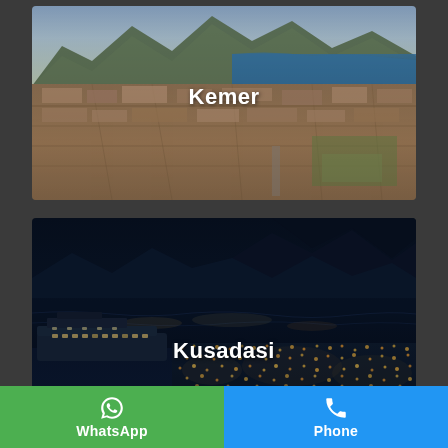[Figure (photo): Aerial view of Kemer, Turkey — coastal town with mountains and sea in the background, daytime]
Kemer
[Figure (photo): Night aerial view of Kusadasi, Turkey — illuminated harbor city with cruise ship docked]
Kusadasi
WhatsApp
Phone